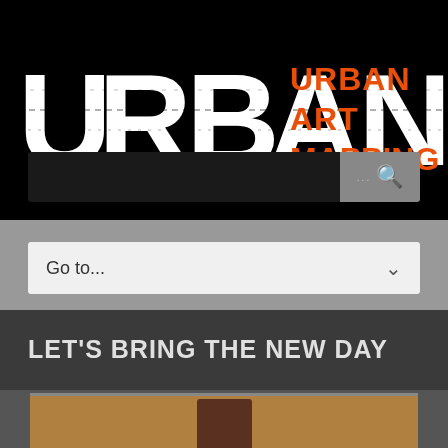[Figure (logo): Urban Art Mapping logo: grunge-style white block letters spelling URBAN with orange text URBAN ART MAPPING to the right, on black background]
[Figure (screenshot): Search bar with dark input field and grey search button with ellipsis and magnifying glass icon]
[Figure (screenshot): Navigation dropdown element showing Go to... with chevron arrow, on grey background]
LET'S BRING THE NEW DAY
[Figure (photo): Partial view of artwork or mural on what appears to be OSB/plywood board, partially visible figure]